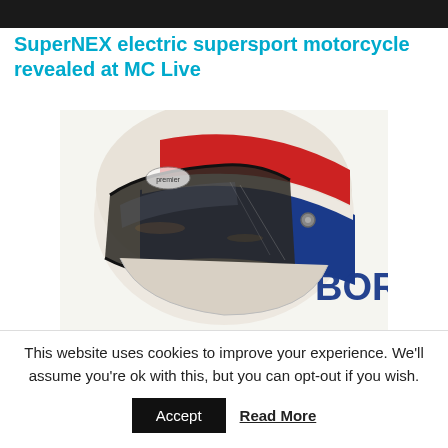[Figure (photo): Dark banner image at the top of the page, partially showing a motorcycle or related scene]
SuperNEX electric supersport motorcycle revealed at MC Live
[Figure (photo): Close-up photo of a vintage-style motorcycle helmet with white base and red and blue stripes, with a scratched visor. The helmet shows the 'Premier' brand logo and partial text 'BOR' on the side.]
This website uses cookies to improve your experience. We'll assume you're ok with this, but you can opt-out if you wish.
Accept   Read More